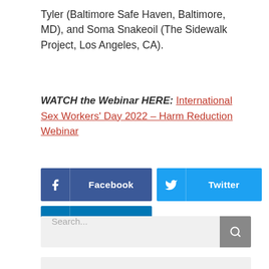Tyler (Baltimore Safe Haven, Baltimore, MD), and Soma Snakeoil (The Sidewalk Project, Los Angeles, CA).
WATCH the Webinar HERE: International Sex Workers' Day 2022 – Harm Reduction Webinar
[Figure (infographic): Three social share buttons: Facebook (dark blue), Twitter (light blue), LinkedIn (medium blue) with respective icons and labels.]
Search...